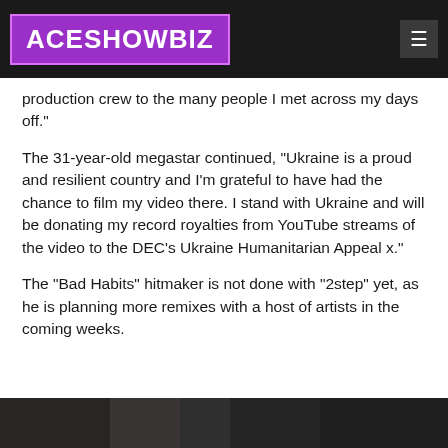ACESHOWBIZ
production crew to the many people I met across my days off."
The 31-year-old megastar continued, "Ukraine is a proud and resilient country and I'm grateful to have had the chance to film my video there. I stand with Ukraine and will be donating my record royalties from YouTube streams of the video to the DEC's Ukraine Humanitarian Appeal x."
The "Bad Habits" hitmaker is not done with "2step" yet, as he is planning more remixes with a host of artists in the coming weeks.
[Figure (photo): Dark photo strip at bottom of page, partially visible]